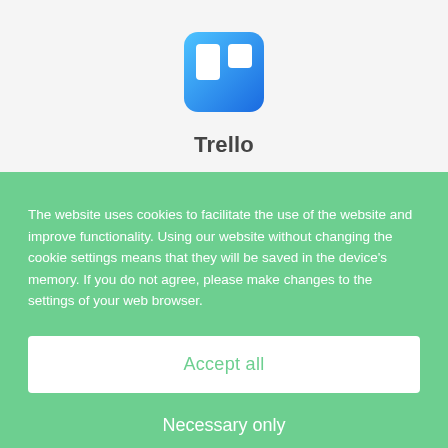[Figure (logo): Trello logo — blue rounded square with two white rounded rectangles inside]
Trello
The website uses cookies to facilitate the use of the website and improve functionality. Using our website without changing the cookie settings means that they will be saved in the device's memory. If you do not agree, please make changes to the settings of your web browser.
Accept all
Necessary only
Privacy policy